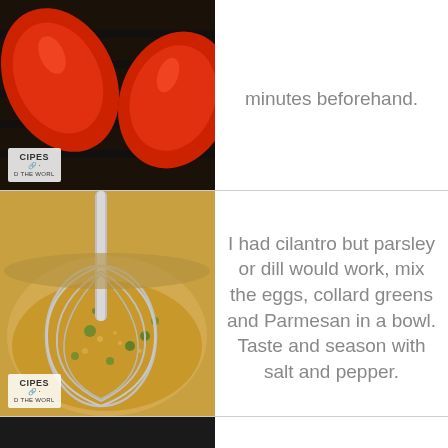[Figure (photo): Red peppers on a grill, dark background, with a recipe watermark logo in the bottom left corner]
minutes beforehand.
[Figure (photo): A whisk mixing egg and green herb batter in a bowl, with a recipe watermark logo in the bottom left corner]
I had cilantro but parsley or dill would work, mix the eggs, collard greens and Parmesan in a bowl. Taste and season with salt and pepper.
[Figure (photo): Cherry tomatoes in a dark skillet/pan]
We'll need a heatproof skillet